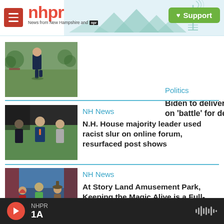nhpr — News from New Hampshire and NPR — Support
Politics
Biden to deliver prime-time speech on 'battle' for democracy
NH News
N.H. House majority leader used racist slur on online forum, resurfaced post shows
NH News
At Story Land Amusement Park, Keeping the Magic Alive is a Full-Time
NHPR 1A